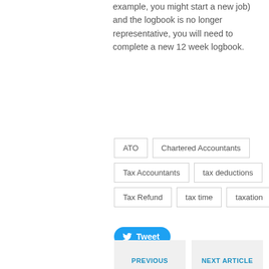example, you might start a new job) and the logbook is no longer representative, you will need to complete a new 12 week logbook.
ATO
Chartered Accountants
Tax Accountants
tax deductions
Tax Refund
tax time
taxation
[Figure (other): Tweet button (Twitter social share button, blue rounded rectangle with bird icon and 'Tweet' text)]
[Figure (other): Save button (Pinterest social save button, red rounded rectangle with pin icon and 'Save' text)]
PREVIOUS | NEXT ARTICLE